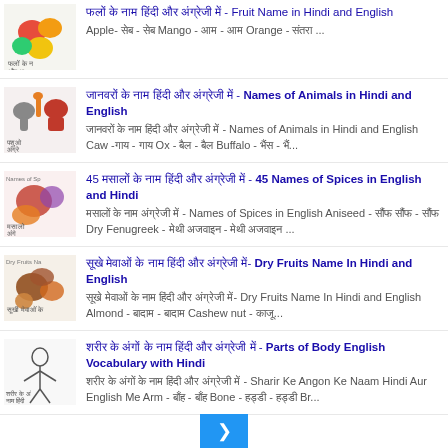फलों के नाम हिंदी और अंग्रेजी में - Fruit Name in Hindi and English Apple- सेब - सेब Mango - आम - आम Orange - संतरा ...
जानवरों के नाम हिंदी और अंग्रेजी में - Names of Animals in Hindi and English जानवरों के नाम हिंदी और अंग्रेजी में - Names of Animals in Hindi and English Caw -गाय - गाय Ox - बैल - बैल Buffalo - भैंस - भैं...
45 मसालों के नाम हिंदी और अंग्रेजी में - 45 Names of Spices in English and Hindi मसालों के नाम अंग्रेजी में - Names of Spices in English Aniseed - सौंफ - सौंफ Dry Fenugreek - मेथी अजवाइन - मेथी अजवाइन ...
सूखे मेवाओं के नाम हिंदी और अंग्रेजी में- Dry Fruits Name In Hindi and English सूखे मेवाओं के नाम हिंदी और अंग्रेजी में- Dry Fruits Name In Hindi and English Almond - बादाम - बादाम Cashew nut - काजू...
शरीर के अंगों के नाम हिंदी और अंग्रेजी में - Parts of Body English Vocabulary with Hindi शरीर के अंगों के नाम हिंदी और अंग्रेजी में - Sharir Ke Angon Ke Naam Hindi Aur English Me Arm - बाँह - बाँह Bone - हड्डी - हड्डी Br...